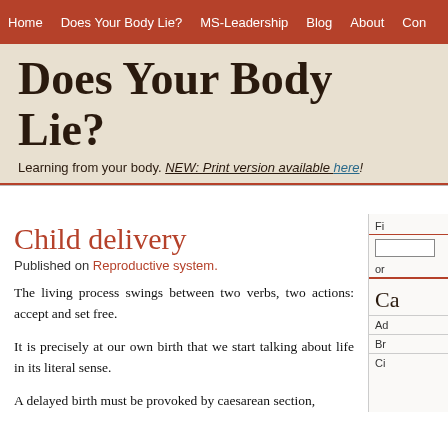Home | Does Your Body Lie? | MS-Leadership | Blog | About | Con...
Does Your Body Lie?
Learning from your body. NEW: Print version available here!
Child delivery
Published on Reproductive system.
The living process swings between two verbs, two actions: accept and set free.
It is precisely at our own birth that we start talking about life in its literal sense.
A delayed birth must be provoked by caesarean section,